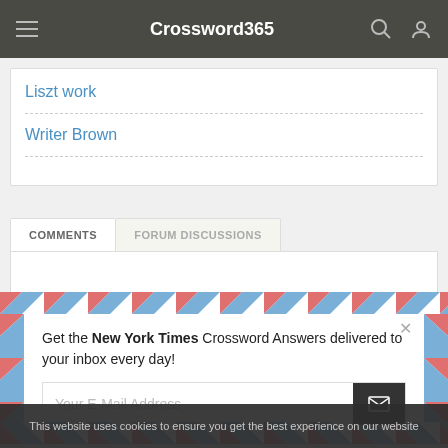Crossword365
Liszt work
Writer Brown
COMMENTS
FORUM DISCUSSIONS
[Figure (screenshot): Email subscription modal with airmail-style diagonal stripe border. Text reads: Get the New York Times Crossword Answers delivered to your inbox every day! with an email input field and send button.]
Get the New York Times Crossword Answers delivered to your inbox every day!
Your E-Mail Address
This website uses cookies to ensure you get the best experience on our website